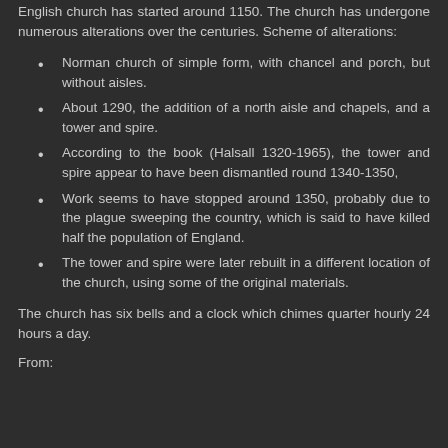English church was started around 1150. The church has undergone numerous alterations over the centuries. Scheme of alterations:
Norman church of simple form, with chancel and porch, but without aisles.
About 1290, the addition of a north aisle and chapels, and a tower and spire.
According to the book (Halsall 1320-1965), the tower and spire appear to have been dismantled round 1340-1350,
Work seems to have stopped around 1350, probably due to the plague sweeping the country, which is said to have killed half the population of England.
The tower and spire were later rebuilt in a different location of the church, using some of the original materials.
The church has six bells and a clock which chimes quarter hourly 24 hours a day.
From: